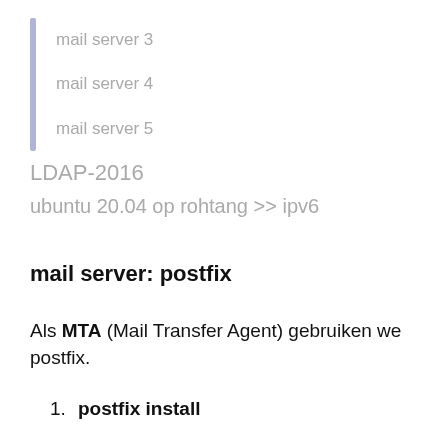mail server 3
mail server 4
mail server 5
LDAP-2016
ubuntu 20.04 op rohtang >> ipv6
mail server: postfix
Als MTA (Mail Transfer Agent) gebruiken we postfix.
postfix install